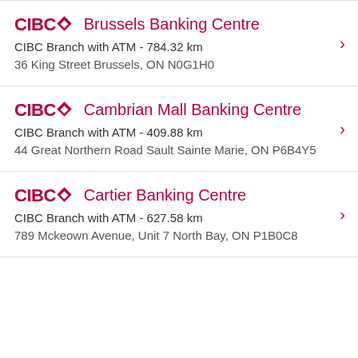CIBC Brussels Banking Centre
CIBC Branch with ATM - 784.32 km
36 King Street Brussels, ON N0G1H0
CIBC Cambrian Mall Banking Centre
CIBC Branch with ATM - 409.88 km
44 Great Northern Road Sault Sainte Marie, ON P6B4Y5
CIBC Cartier Banking Centre
CIBC Branch with ATM - 627.58 km
789 Mckeown Avenue, Unit 7 North Bay, ON P1B0C8